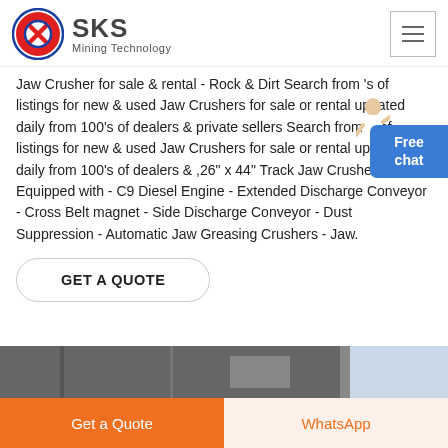SKS Mining Technology
Jaw Crusher for sale & rental - Rock & Dirt Search from 's of listings for new & used Jaw Crushers for sale or rental updated daily from 100's of dealers & private sellers Search from 's of listings for new & used Jaw Crushers for sale or rental updated daily from 100's of dealers & ,26" x 44" Track Jaw Crusher Equipped with - C9 Diesel Engine - Extended Discharge Conveyor - Cross Belt magnet - Side Discharge Conveyor - Dust Suppression - Automatic Jaw Greasing Crushers - Jaw.
[Figure (other): GET A QUOTE button with rounded rectangle border]
[Figure (photo): Partial image of industrial machinery/crusher equipment]
Get a Quote | WhatsApp